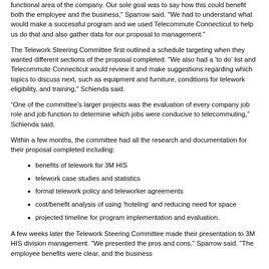functional area of the company. Our sole goal was to say how this could benefit both the employee and the business," Sparrow said. "We had to understand what would make a successful program and we used Telecommute Connecticut to help us do that and also gather data for our proposal to management."
The Telework Steering Committee first outlined a schedule targeting when they wanted different sections of the proposal completed. "We also had a 'to do' list and Telecommute Connecticut would review it and make suggestions regarding which topics to discuss next, such as equipment and furniture, conditions for telework eligibility, and training," Schienda said.
“One of the committee’s larger projects was the evaluation of every company job role and job function to determine which jobs were conducive to telecommuting,” Schienda said.
Within a few months, the committee had all the research and documentation for their proposal completed including:
benefits of telework for 3M HIS
telework case studies and statistics
formal telework policy and teleworker agreements
cost/benefit analysis of using 'hoteling' and reducing need for space
projected timeline for program implementation and evaluation.
A few weeks later the Telework Steering Committee made their presentation to 3M HIS division management. "We presented the pros and cons," Sparrow said. "The employee benefits were clear, and the business